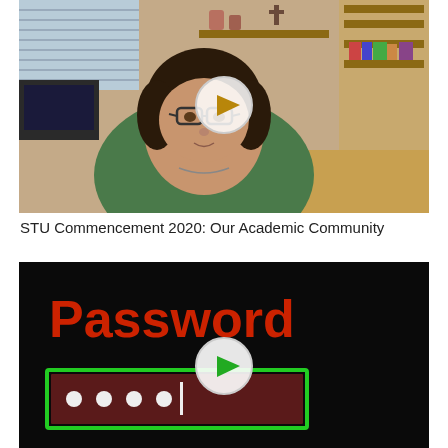[Figure (photo): Video thumbnail showing a woman with glasses and dark curly hair wearing a green top, seated in an office/classroom setting with bookshelves. A white circular play button overlay is centered on the image.]
STU Commencement 2020: Our Academic Community
[Figure (screenshot): Video thumbnail with black background showing the word 'Password' in red text, a green outlined rectangle containing a dark red field with white dots (password entry field). A white circular play button overlay is centered on the image.]